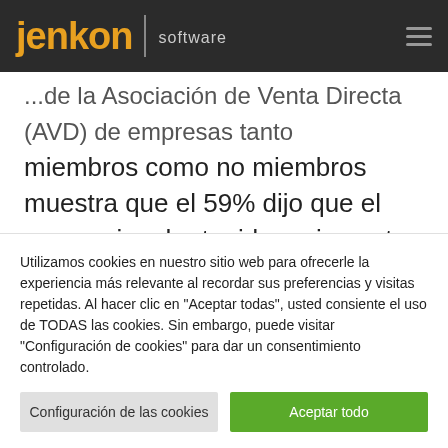[Figure (logo): Jenkon software logo on dark navbar with hamburger menu]
de tiempo para algunas. ...miembros como no miembros muestra que el 59% dijo que el coronavirus ha tenido un impacto positivo en los ingresos. La encuesta también mostró que el 14% respondió que no ha ayudado ni
Utilizamos cookies en nuestro sitio web para ofrecerle la experiencia más relevante al recordar sus preferencias y visitas repetidas. Al hacer clic en "Aceptar todas", usted consiente el uso de TODAS las cookies. Sin embargo, puede visitar "Configuración de cookies" para dar un consentimiento controlado.